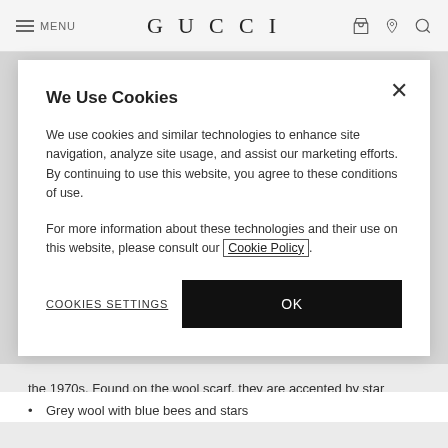MENU | GUCCI
We Use Cookies
We use cookies and similar technologies to enhance site navigation, analyze site usage, and assist our marketing efforts. By continuing to use this website, you agree to these conditions of use.
For more information about these technologies and their use on this website, please consult our Cookie Policy.
COOKIES SETTINGS
OK
the 1970s. Found on the wool scarf, they are accented by star details for a whimsical touch.
Grey wool with blue bees and stars
W33cm x L175cm
Made in Italy
100% wool